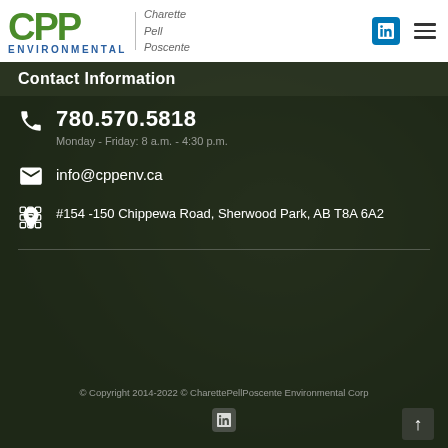[Figure (logo): CPP Environmental logo with green stylized letters CPP, blue ENVIRONMENTAL text, and italic Charette Pell Poscente tagline]
Contact Information
780.570.5818
Monday - Friday: 8 a.m. - 4:30 p.m.
info@cppenv.ca
#154 -150 Chippewa Road, Sherwood Park, AB T8A 6A2
© Copyright 2014-2022 © CharettePellPoscente Environmental Corp